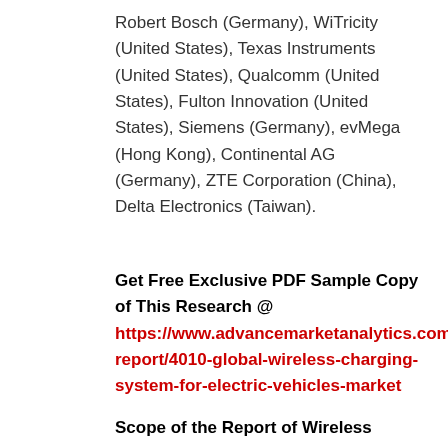Robert Bosch (Germany), WiTricity (United States), Texas Instruments (United States), Qualcomm (United States), Fulton Innovation (United States), Siemens (Germany), evMega (Hong Kong), Continental AG (Germany), ZTE Corporation (China), Delta Electronics (Taiwan).
Get Free Exclusive PDF Sample Copy of This Research @ https://www.advancemarketanalytics.com/sample-report/4010-global-wireless-charging-system-for-electric-vehicles-market
Scope of the Report of Wireless